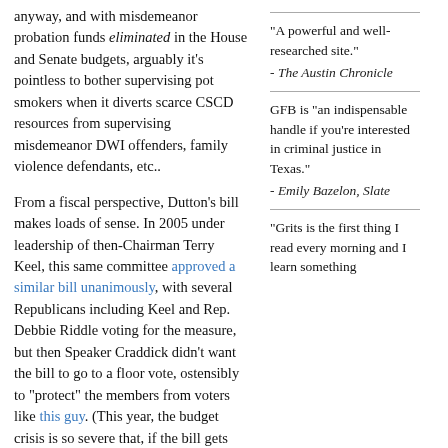anyway, and with misdemeanor probation funds eliminated in the House and Senate budgets, arguably it's pointless to bother supervising pot smokers when it diverts scarce CSCD resources from supervising misdemeanor DWI offenders, family violence defendants, etc..
From a fiscal perspective, Dutton's bill makes loads of sense. In 2005 under leadership of then-Chairman Terry Keel, this same committee approved a similar bill unanimously, with several Republicans including Keel and Rep. Debbie Riddle voting for the measure, but then Speaker Craddick didn't want the bill to go to a floor vote, ostensibly to "protect" the members from voters like this guy. (This year, the budget crisis is so severe that, if the bill gets that far, the new Speaker IMO should blow past such concerns and let members vote. There will be so many unfunded mandates, particularly for county jails, that the
"A powerful and well-researched site."
- The Austin Chronicle
GFB is "an indispensable handle if you're interested in criminal justice in Texas."
- Emily Bazelon, Slate
"Grits is the first thing I read every morning and I learn something